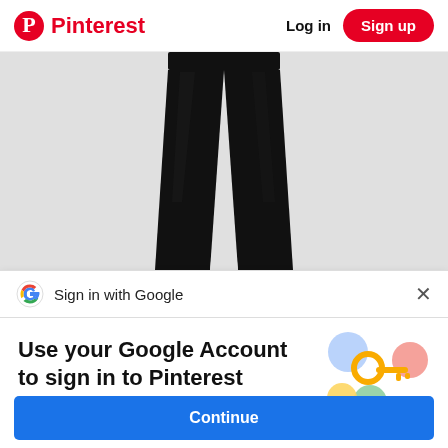Pinterest  Log in  Sign up
[Figure (photo): Product photo of black pants/trousers on a light gray background, showing the lower body/legs portion of the garment.]
G  Sign in with Google  ×
Use your Google Account to sign in to Pinterest
No more passwords to remember. Signing in is fast, simple and secure.
[Figure (illustration): Google key illustration with colorful circles and a gold key icon, representing Google account security.]
Continue